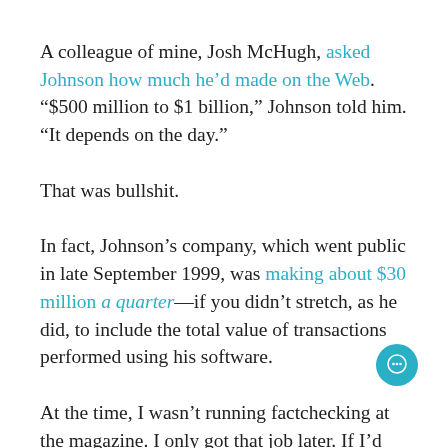A colleague of mine, Josh McHugh, asked Johnson how much he’d made on the Web. “$500 million to $1 billion,” Johnson told him. “It depends on the day.”
That was bullshit.
In fact, Johnson’s company, which went public in late September 1999, was making about $30 million a quarter—if you didn’t stretch, as he did, to include the total value of transactions performed using his software.
At the time, I wasn’t running factchecking at the magazine. I only got that job later. If I’d been in charge, I would have redlined the [text continues]